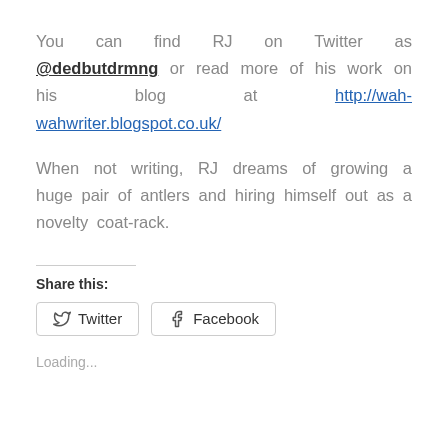You can find RJ on Twitter as @dedbutdrmng or read more of his work on his blog at http://wah-wahwriter.blogspot.co.uk/
When not writing, RJ dreams of growing a huge pair of antlers and hiring himself out as a novelty coat-rack.
Share this:
[Figure (screenshot): Share buttons for Twitter and Facebook]
Loading...